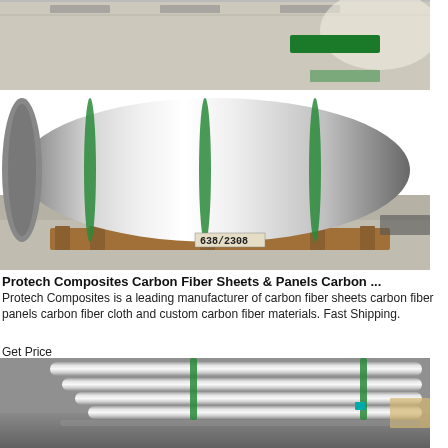[Figure (photo): Large metallic roll/coil with green straps sitting on a wooden pallet on a factory floor. Label reads 638/2308.]
Protech Composites Carbon Fiber Sheets & Panels Carbon ...
Protech Composites is a leading manufacturer of carbon fiber sheets carbon fiber panels carbon fiber cloth and custom carbon fiber materials. Fast Shipping.
Get Price
[Figure (photo): Multiple metallic rods or tubes stacked/arranged on a factory floor with green straps.]